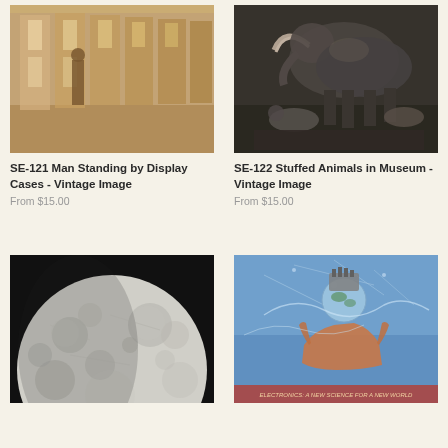[Figure (photo): Sepia-toned vintage photo of a man standing by display cases in a gallery or exhibition hall]
SE-121 Man Standing by Display Cases - Vintage Image
From $15.00
[Figure (photo): Black and white photo of stuffed animals (including a mammoth/elephant and other animals) in a museum display]
SE-122 Stuffed Animals in Museum - Vintage Image
From $15.00
[Figure (photo): Black and white photograph of the moon showing craters and surface detail]
[Figure (photo): Colorful vintage illustration of hands holding electronic components with science-fiction imagery, text reads ELECTRONICS: A NEW SCIENCE FOR A NEW WORLD]